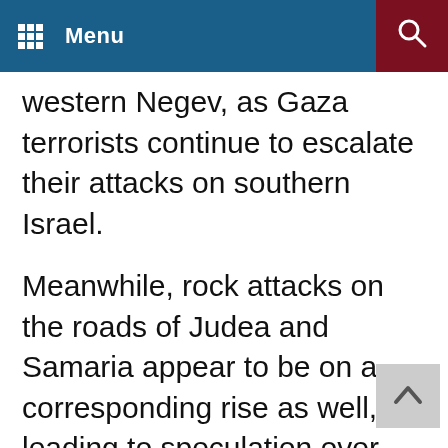Menu
western Negev, as Gaza terrorists continue to escalate their attacks on southern Israel.
Meanwhile, rock attacks on the roads of Judea and Samaria appear to be on a corresponding rise as well, leading to speculation over whether a third intifada may indeed be on the way.
Abraham H. Foxman, National